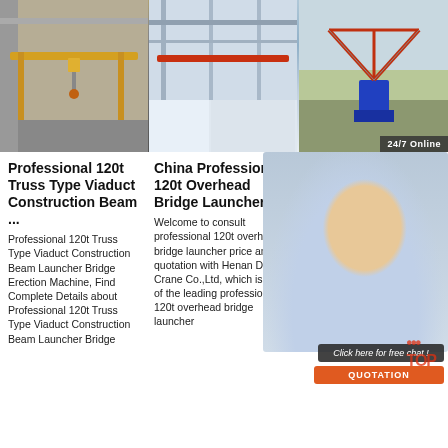[Figure (photo): Industrial overhead crane in a warehouse with yellow beam structure]
[Figure (photo): Another crane installation in large industrial building with red overhead beam]
[Figure (photo): Outdoor construction crane / bridge launcher machine on site; 24/7 Online badge overlay]
Professional 120t Truss Type Viaduct Construction Beam ...
Professional 120t Truss Type Viaduct Construction Beam Launcher Bridge Erection Machine, Find Complete Details about Professional 120t Truss Type Viaduct Construction Beam Launcher Bridge
China Professional 120t Overhead Bridge Launcher ...
Welcome to consult professional 120t overhead bridge launcher price and quotation with Henan Dowell Crane Co.,Ltd, which is one of the leading professional 120t overhead bridge launcher
Super Beam Crane Indust Effica
Mobile B Constru Launcher Bridge Girder Erection Machine Trussed Highway Beam Launcher Bridge Crane 10 Ton-203 Ton.
$31,000.00-$1,085,270. Set. 1.0 Sets (Min.
[Figure (photo): Customer service representative with headset - 24/7 online chat popup with QUOTATION button]